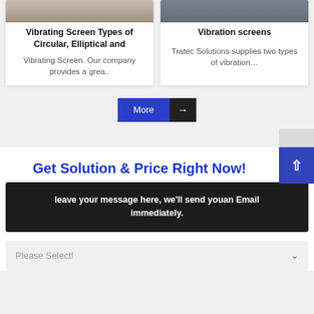[Figure (photo): Top portion of two product cards showing photos of vibrating screen equipment]
Vibrating Screen Types of Circular, Elliptical and
Vibrating Screen. Our company provides a grea..
Vibration screens
Tratec Solutions supplies two types of vibration...
More →
Get Solution & Price Right Now!
leave your message here, we'll send youan Email immediately.
Please Select!